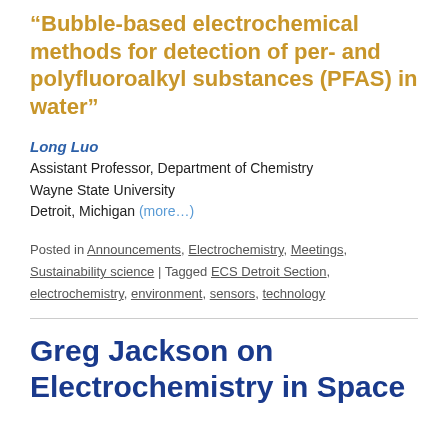“Bubble-based electrochemical methods for detection of per- and polyfluoroalkyl substances (PFAS) in water”
Long Luo
Assistant Professor, Department of Chemistry
Wayne State University
Detroit, Michigan (more…)
Posted in Announcements, Electrochemistry, Meetings, Sustainability science | Tagged ECS Detroit Section, electrochemistry, environment, sensors, technology
Greg Jackson on Electrochemistry in Space